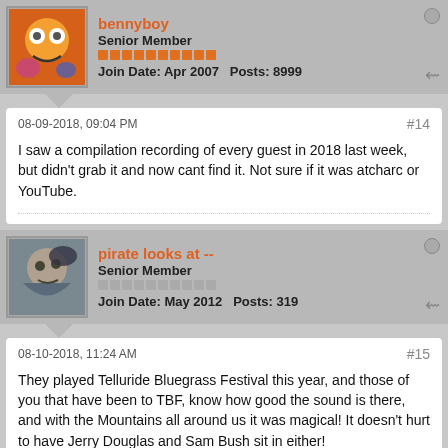bennyboy
Senior Member
Join Date: Apr 2007    Posts: 8999
08-09-2018, 09:04 PM
#14
I saw a compilation recording of every guest in 2018 last week, but didn't grab it and now cant find it. Not sure if it was atcharc or YouTube.
pirate looks at --
Senior Member
Join Date: May 2012    Posts: 319
08-10-2018, 11:24 AM
#15
They played Telluride Bluegrass Festival this year, and those of you that have been to TBF, know how good the sound is there, and with the Mountains all around us it was magical! It doesn't hurt to have Jerry Douglas and Sam Bush sit in either!